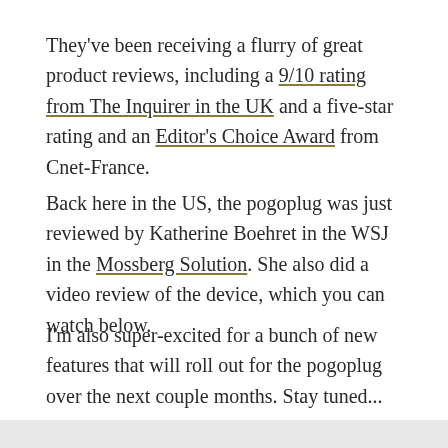They've been receiving a flurry of great product reviews, including a 9/10 rating from The Inquirer in the UK and a five-star rating and an Editor's Choice Award from Cnet-France.
Back here in the US, the pogoplug was just reviewed by Katherine Boehret in the WSJ in the Mossberg Solution. She also did a video review of the device, which you can watch below.
I'm also super-excited for a bunch of new features that will roll out for the pogoplug over the next couple months. Stay tuned...